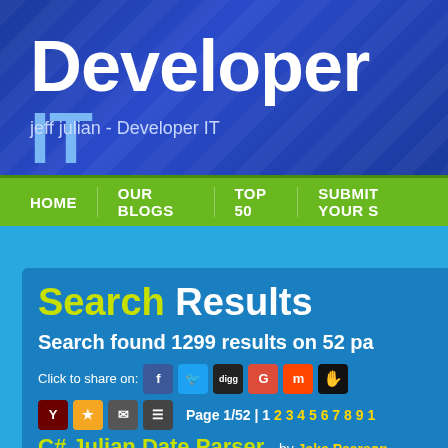Developer IT
jeff julian - Developer IT
HOME   OUR BLOGS   TOP 50   SUBMIT YOUR S
Search Results
Search found 1299 results on 52 pa
Click to share on:
Page 1/52 | 1 2 3 4 5 6 7 8 9 1
C# Julian Date Parser - by Jake Pearson